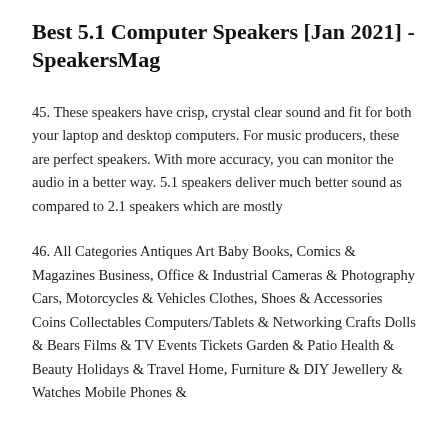Best 5.1 Computer Speakers [Jan 2021] - SpeakersMag
45. These speakers have crisp, crystal clear sound and fit for both your laptop and desktop computers. For music producers, these are perfect speakers. With more accuracy, you can monitor the audio in a better way. 5.1 speakers deliver much better sound as compared to 2.1 speakers which are mostly
46. All Categories Antiques Art Baby Books, Comics & Magazines Business, Office & Industrial Cameras & Photography Cars, Motorcycles & Vehicles Clothes, Shoes & Accessories Coins Collectables Computers/Tablets & Networking Crafts Dolls & Bears Films & TV Events Tickets Garden & Patio Health & Beauty Holidays & Travel Home, Furniture & DIY Jewellery & Watches Mobile Phones &